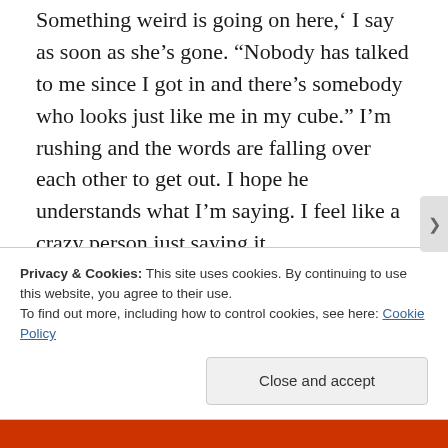Something weird is going on here,' I say as soon as she's gone. “Nobody has talked to me since I got in and there’s somebody who looks just like me in my cube.” I’m rushing and the words are falling over each other to get out. I hope he understands what I’m saying. I feel like a crazy person just saying it.
He stares at me the same way Kevin and my other self stared at me. I’m beginning to think this was a mistake and start backing away, until I run into something. I turn around and see the other me. He
Privacy & Cookies: This site uses cookies. By continuing to use this website, you agree to their use.
To find out more, including how to control cookies, see here: Cookie Policy